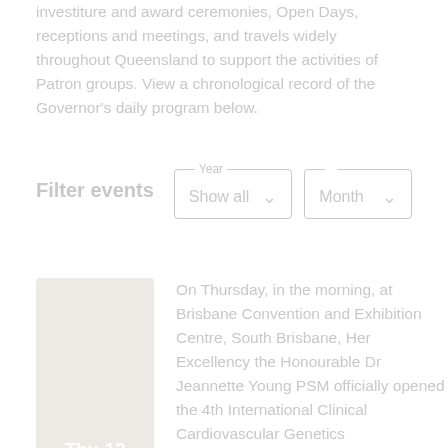investiture and award ceremonies, Open Days, receptions and meetings, and travels widely throughout Queensland to support the activities of Patron groups. View a chronological record of the Governor's daily program below.
Filter events
[Figure (screenshot): Filter UI with two dropdown selectors: 'Year' showing 'Show all' and 'Month' selector]
Thu 12 May 2022 — On Thursday, in the morning, at Brisbane Convention and Exhibition Centre, South Brisbane, Her Excellency the Honourable Dr Jeannette Young PSM officially opened the 4th International Clinical Cardiovascular Genetics Conference...